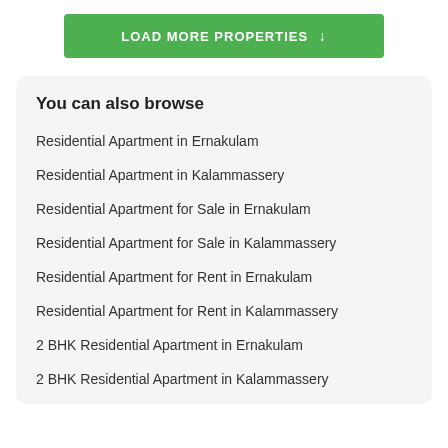[Figure (other): Green button labeled LOAD MORE PROPERTIES with a down arrow]
You can also browse
Residential Apartment in Ernakulam
Residential Apartment in Kalammassery
Residential Apartment for Sale in Ernakulam
Residential Apartment for Sale in Kalammassery
Residential Apartment for Rent in Ernakulam
Residential Apartment for Rent in Kalammassery
2 BHK Residential Apartment in Ernakulam
2 BHK Residential Apartment in Kalammassery